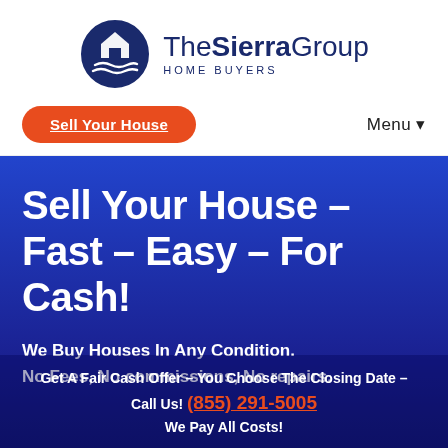[Figure (logo): The Sierra Group Home Buyers logo: circular navy blue icon with house and mountains/waves, text 'TheSierraGroup HOME BUYERS']
Sell Your House
Menu ▼
Sell Your House – Fast – Easy – For Cash!
We Buy Houses In Any Condition. No Fees, No commissions, No repairs.
Get A Fair Cash Offer – You Choose The Closing Date – Call Us! (855) 291-5005 We Pay All Costs!